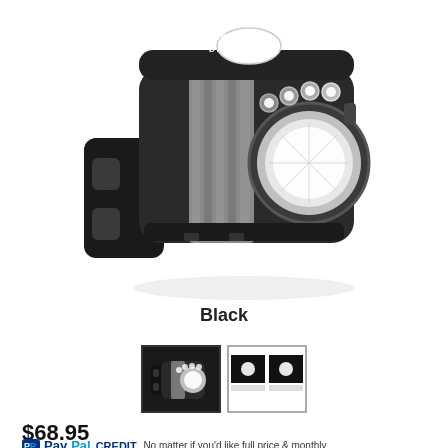[Figure (photo): Cycolite Dash bicycle front light in black color, showing the light unit with multiple LED lights, main lens, and handlebar mount bracket. The light has a silver/metallic accent stripe and the Cycolite Dash branding on top.]
Black
[Figure (photo): Two thumbnail images: first showing the black Cycolite Dash light from the side/front angle, second showing a brightness comparison beam shot.]
$68.95
PayPal CREDIT No matter if you'd like full price & monthly